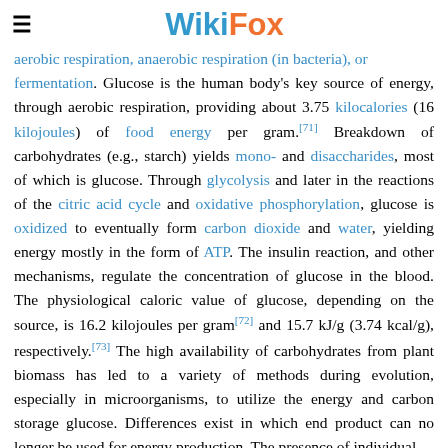WikiFox
aerobic respiration, anaerobic respiration (in bacteria), or fermentation. Glucose is the human body's key source of energy, through aerobic respiration, providing about 3.75 kilocalories (16 kilojoules) of food energy per gram.[71] Breakdown of carbohydrates (e.g., starch) yields mono- and disaccharides, most of which is glucose. Through glycolysis and later in the reactions of the citric acid cycle and oxidative phosphorylation, glucose is oxidized to eventually form carbon dioxide and water, yielding energy mostly in the form of ATP. The insulin reaction, and other mechanisms, regulate the concentration of glucose in the blood. The physiological caloric value of glucose, depending on the source, is 16.2 kilojoules per gram[72] and 15.7 kJ/g (3.74 kcal/g), respectively.[73] The high availability of carbohydrates from plant biomass has led to a variety of methods during evolution, especially in microorganisms, to utilize the energy and carbon storage glucose. Differences exist in which end product can no longer be used for energy production. The presence of individual